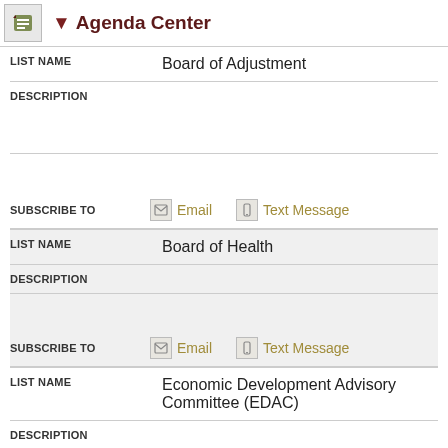Agenda Center
| LIST NAME | Board of Adjustment |
| --- | --- |
| DESCRIPTION |  |
| SUBSCRIBE TO | Email  Text Message |
| LIST NAME | Board of Health |
| --- | --- |
| DESCRIPTION |  |
| SUBSCRIBE TO | Email  Text Message |
| LIST NAME | Economic Development Advisory Committee (EDAC) |
| --- | --- |
| DESCRIPTION |  |